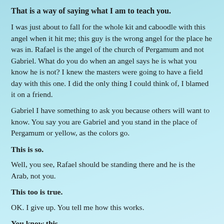That is a way of saying what I am to teach you.
I was just about to fall for the whole kit and caboodle with this angel when it hit me; this guy is the wrong angel for the place he was in. Rafael is the angel of the church of Pergamum and not Gabriel. What do you do when an angel says he is what you know he is not? I knew the masters were going to have a field day with this one. I did the only thing I could think of, I blamed it on a friend.
Gabriel I have something to ask you because others will want to know. You say you are Gabriel and you stand in the place of Pergamum or yellow, as the colors go.
This is so.
Well, you see, Rafael should be standing there and he is the Arab, not you.
This too is true.
OK. I give up. You tell me how this works.
You know this.
I get it, you want me to tell you how it is the way it is. Well